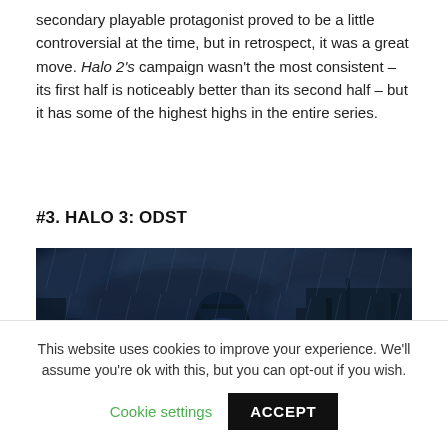secondary playable protagonist proved to be a little controversial at the time, but in retrospect, it was a great move. Halo 2's campaign wasn't the most consistent – its first half is noticeably better than its second half – but it has some of the highest highs in the entire series.
#3. HALO 3: ODST
[Figure (photo): Dark, moody promotional image of a Spartan/ODST soldier in full armor standing in rain with stormy clouds and debris in the background – from Halo 3: ODST.]
This website uses cookies to improve your experience. We'll assume you're ok with this, but you can opt-out if you wish.